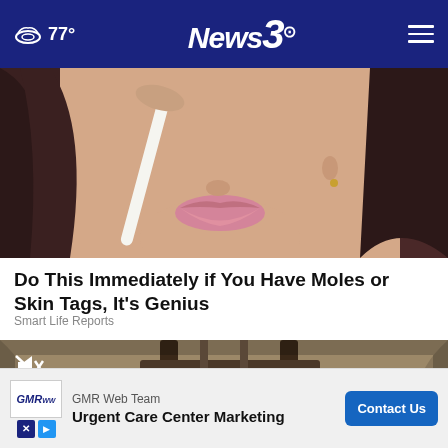77° News3
[Figure (photo): Close-up photo of a woman applying something to her face near her lips, holding a white applicator, dark hair visible]
Do This Immediately if You Have Moles or Skin Tags, It's Genius
Smart Life Reports
[Figure (photo): Video thumbnail showing dark fixtures, possibly bathroom hardware, with a muted speaker icon overlay and an X close button]
GMR Web Team Urgent Care Center Marketing — Contact Us